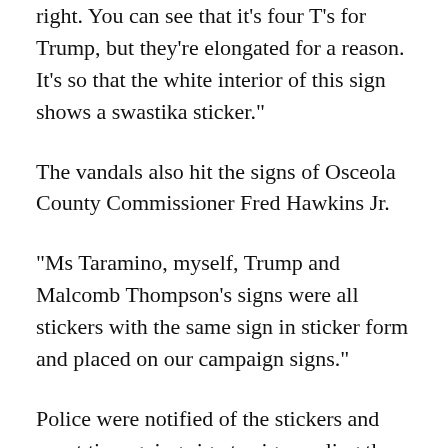right. You can see that it's four T's for Trump, but they're elongated for a reason. It's so that the white interior of this sign shows a swastika sticker."
The vandals also hit the signs of Osceola County Commissioner Fred Hawkins Jr.
"Ms Taramino, myself, Trump and Malcomb Thompson's signs were all stickers with the same sign in sticker form and placed on our campaign signs."
Police were notified of the stickers and spent time going sign to sign peeling the stickers off. Candidates say there's no mistaking the message here